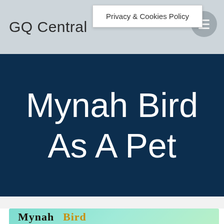GQ Central
Privacy & Cookies Policy
Mynah Bird As A Pet
[Figure (photo): Article thumbnail image with teal/green background showing text 'Mynah Bird' in dark and gold lettering]